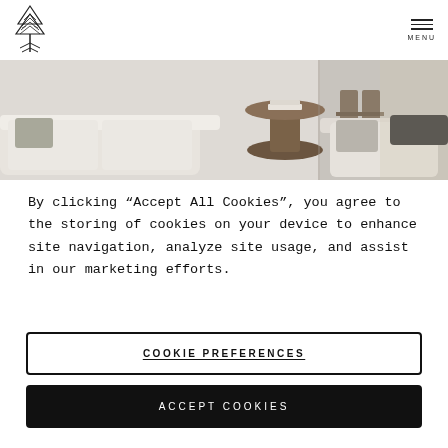[Figure (logo): Pine tree / evergreen logo in black line art]
[Figure (photo): Interior design photo showing light neutral sofas, a round side table with books, and outdoor chairs in background]
By clicking “Accept All Cookies”, you agree to the storing of cookies on your device to enhance site navigation, analyze site usage, and assist in our marketing efforts.
COOKIE PREFERENCES
ACCEPT COOKIES